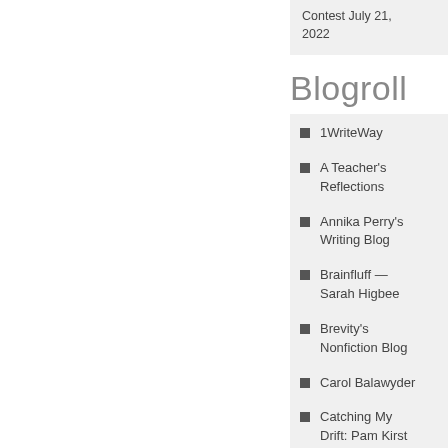Contest July 21, 2022
Blogroll
1WriteWay
A Teacher's Reflections
Annika Perry's Writing Blog
Brainfluff — Sarah Higbee
Brevity's Nonfiction Blog
Carol Balawyder
Catching My Drift: Pam Kirst Blog
Ellen Morris Prewitt's Blog
Entering the Pale